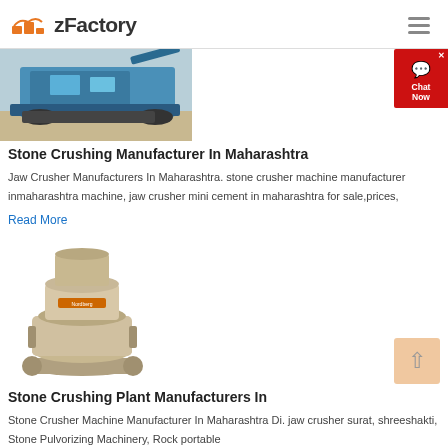zFactory
[Figure (photo): Stone crushing machine / mobile jaw crusher on gravel site, blue machinery]
Stone Crushing Manufacturer In Maharashtra
Jaw Crusher Manufacturers In Maharashtra. stone crusher machine manufacturer inmaharashtra machine, jaw crusher mini cement in maharashtra for sale,prices,
Read More
[Figure (photo): Cone crusher / stone crushing plant equipment, beige/tan industrial machinery]
Stone Crushing Plant Manufacturers In
Stone Crusher Machine Manufacturer In Maharashtra Di. jaw crusher surat, shreeshakti, Stone Pulvorizing Machinery, Rock portable